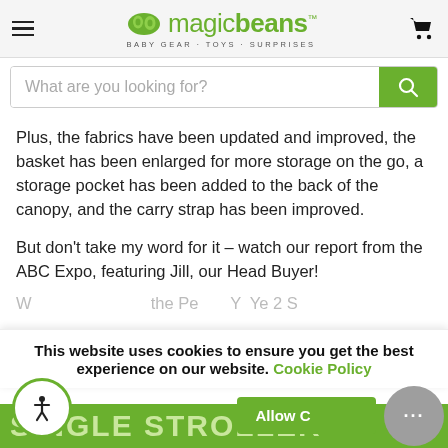magic beans — BABY GEAR · TOYS · SURPRISES
[Figure (screenshot): Search bar with placeholder text 'What are you looking for?' and green search button]
Plus, the fabrics have been updated and improved, the basket has been enlarged for more storage on the go, a storage pocket has been added to the back of the canopy, and the carry strap has been improved.
But don't take my word for it – watch our report from the ABC Expo, featuring Jill, our Head Buyer!
This website uses cookies to ensure you get the best experience on our website. Cookie Policy
Allow Co...
SINGLE STROLLER